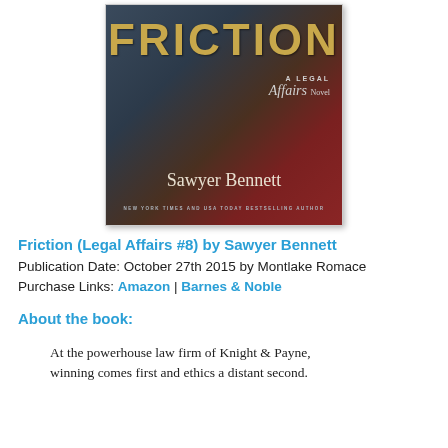[Figure (illustration): Book cover for 'Friction: A Legal Affairs Novel' by Sawyer Bennett. Features two figures in formal attire (suits) against a dark background. Title 'FRICTION' in large gold letters at top, 'A LEGAL Affairs Novel' in the upper right, author name 'Sawyer Bennett' in large white letters, and 'NEW YORK TIMES AND USA TODAY BESTSELLING AUTHOR' at the bottom.]
Friction (Legal Affairs #8) by Sawyer Bennett
Publication Date: October 27th 2015 by Montlake Romace
Purchase Links: Amazon | Barnes & Noble
About the book:
At the powerhouse law firm of Knight & Payne, winning comes first and ethics a distant second.